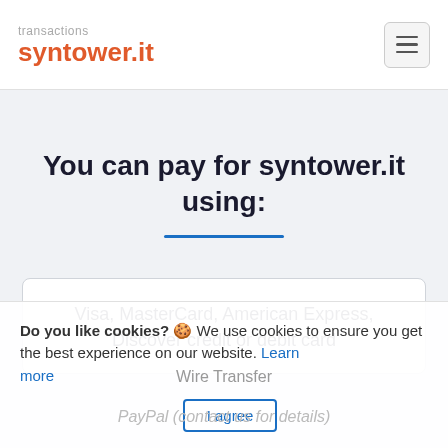transactions syntower.it
You can pay for syntower.it using:
Visa, MasterCard, American Express, Discover credit or debit card
Wire Transfer
PayPal (contact us for details)
Do you like cookies? 🍪 We use cookies to ensure you get the best experience on our website. Learn more
I agree